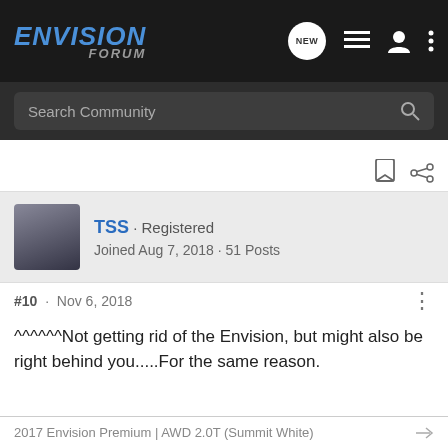ENVISION FORUM
Search Community
TSS · Registered
Joined Aug 7, 2018 · 51 Posts
#10 · Nov 6, 2018
^^^^^^Not getting rid of the Envision, but might also be right behind you.....For the same reason.
2017 Envision Premium | AWD 2.0T (Summit White)